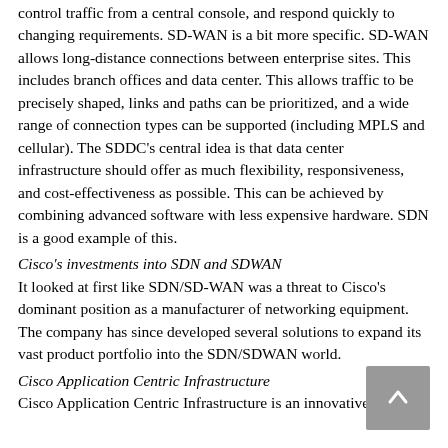control traffic from a central console, and respond quickly to changing requirements. SD-WAN is a bit more specific. SD-WAN allows long-distance connections between enterprise sites. This includes branch offices and data center. This allows traffic to be precisely shaped, links and paths can be prioritized, and a wide range of connection types can be supported (including MPLS and cellular). The SDDC's central idea is that data center infrastructure should offer as much flexibility, responsiveness, and cost-effectiveness as possible. This can be achieved by combining advanced software with less expensive hardware. SDN is a good example of this.
Cisco's investments into SDN and SDWAN
It looked at first like SDN/SD-WAN was a threat to Cisco's dominant position as a manufacturer of networking equipment. The company has since developed several solutions to expand its vast product portfolio into the SDN/SDWAN world.
Cisco Application Centric Infrastructure
Cisco Application Centric Infrastructure is an innovative approach